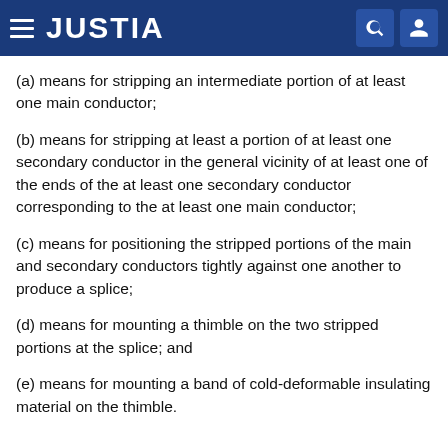JUSTIA
(a) means for stripping an intermediate portion of at least one main conductor;
(b) means for stripping at least a portion of at least one secondary conductor in the general vicinity of at least one of the ends of the at least one secondary conductor corresponding to the at least one main conductor;
(c) means for positioning the stripped portions of the main and secondary conductors tightly against one another to produce a splice;
(d) means for mounting a thimble on the two stripped portions at the splice; and
(e) means for mounting a band of cold-deformable insulating material on the thimble.